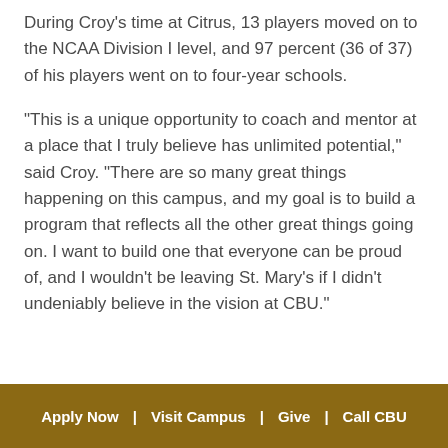During Croy's time at Citrus, 13 players moved on to the NCAA Division I level, and 97 percent (36 of 37) of his players went on to four-year schools.
"This is a unique opportunity to coach and mentor at a place that I truly believe has unlimited potential," said Croy. "There are so many great things happening on this campus, and my goal is to build a program that reflects all the other great things going on. I want to build one that everyone can be proud of, and I wouldn't be leaving St. Mary's if I didn't undeniably believe in the vision at CBU."
Apply Now | Visit Campus | Give | Call CBU